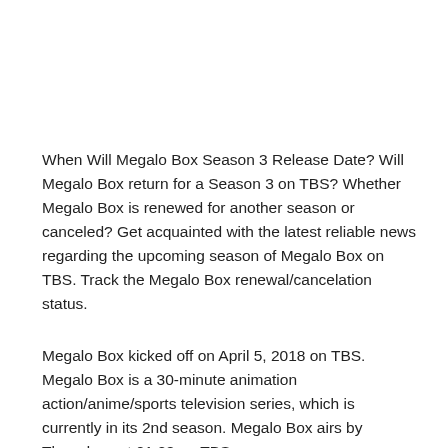When Will Megalo Box Season 3 Release Date? Will Megalo Box return for a Season 3 on TBS? Whether Megalo Box is renewed for another season or canceled? Get acquainted with the latest reliable news regarding the upcoming season of Megalo Box on TBS. Track the Megalo Box renewal/cancelation status.
Megalo Box kicked off on April 5, 2018 on TBS. Megalo Box is a 30-minute animation action/anime/sports television series, which is currently in its 2nd season. Megalo Box airs by Thursdays at 01:28 on TBS.
Unfortunately, TBS decided not to pick up Megalo Box for a 3rd season. Megalo Box thereby is canceled and will